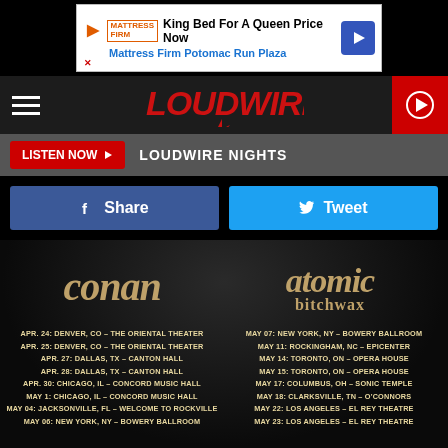[Figure (screenshot): Mattress Firm advertisement banner: King Bed For A Queen Price Now, Mattress Firm Potomac Run Plaza]
[Figure (logo): Loudwire logo in red with lightning bolt, navigation bar with hamburger menu and red play button]
LISTEN NOW  LOUDWIRE NIGHTS
Share   Tweet
[Figure (photo): Concert tour poster showing band logos for Conan and Atomic Bitchwax against dark background]
APR. 24: DENVER, CO – THE ORIENTAL THEATER
APR. 25: DENVER, CO – THE ORIENTAL THEATER
APR. 27: DALLAS, TX – CANTON HALL
APR. 28: DALLAS, TX – CANTON HALL
APR. 30: CHICAGO, IL – CONCORD MUSIC HALL
MAY 1: CHICAGO, IL – CONCORD MUSIC HALL
MAY 04: JACKSONVILLE, FL – WELCOME TO ROCKVILLE
MAY 06: NEW YORK, NY – BOWERY BALLROOM
MAY 07: NEW YORK, NY – BOWERY BALLROOM
MAY 11: ROCKINGHAM, NC – EPICENTER
MAY 14: TORONTO, ON – OPERA HOUSE
MAY 15: TORONTO, ON – OPERA HOUSE
MAY 17: COLUMBUS, OH – SONIC TEMPLE
MAY 18: CLARKSVILLE, TN – O'CONNORS
MAY 22: LOS ANGELES – EL REY THEATRE
MAY 23: LOS ANGELES – EL REY THEATRE